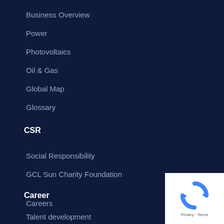Business Overview
Power
Photovoltaics
Oil & Gas
Global Map
Glossary
CSR
Social Responsibility
GCL Sun Charity Foundation
Career
Careers
Talent development
[Figure (logo): reCAPTCHA logo with Privacy and Terms text]